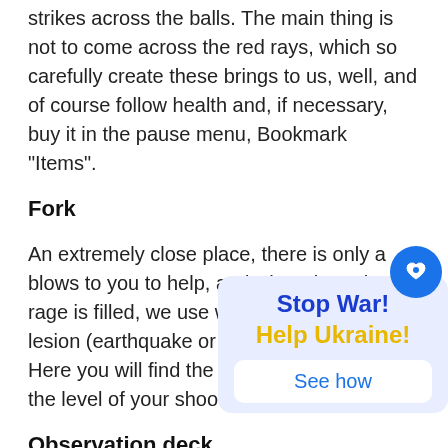strikes across the balls. The main thing is not to come across the red rays, which so carefully create these brings to us, well, and of course follow health and, if necessary, buy it in the pause menu, Bookmark “Items”.
Fork
An extremely close place, there is only a blows to you to help, and when the strip of rage is filled, we use weapons of mass lesion (earthquake or rage of darkness). Here you will find the last artifact that raises the level of your shooting
Observation deck
First you will be closed in a cage spikes from the floor. Jump over place to place where they disappear, and then
[Figure (infographic): Stop War! Help Ukraine! popup overlay with blue circle heart icon and See how button]